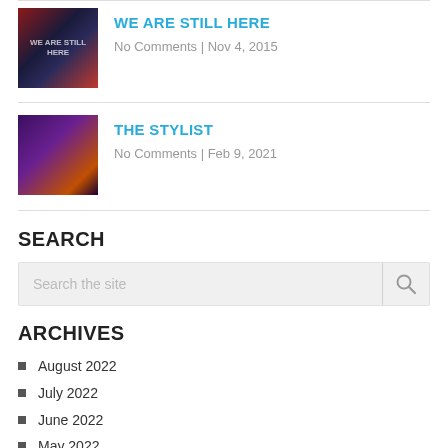[Figure (photo): Movie poster thumbnail for 'We Are Still Here' with dark blue and red tones]
WE ARE STILL HERE
No Comments | Nov 4, 2015
[Figure (photo): Movie poster thumbnail for 'The Stylist' showing a woman with long red hair in dark purple tones]
THE STYLIST
No Comments | Feb 9, 2021
SEARCH
Search the site
ARCHIVES
August 2022
July 2022
June 2022
May 2022